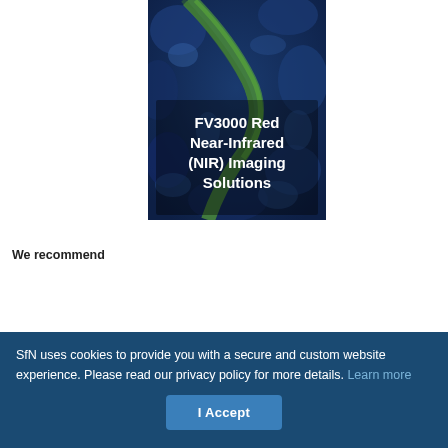[Figure (photo): Microscopy image showing red near-infrared tissue sample with blue and green tones, overlaid with bold white text reading 'FV3000 Red Near-Infrared (NIR) Imaging Solutions']
We recommend
SfN uses cookies to provide you with a secure and custom website experience. Please read our privacy policy for more details. Learn more